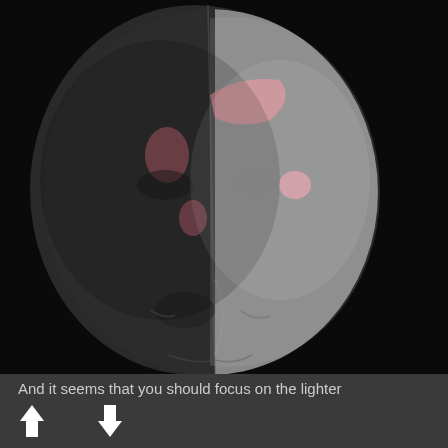[Figure (illustration): 3D rendered human face/mask split diagonally: left half in dark shadow (near black), right half in light gray. Pink/reddish blotches visible on the forehead and cheek areas, indicating subsurface scattering or texture overlay. Black background.]
And it seems that you should focus on the lighter